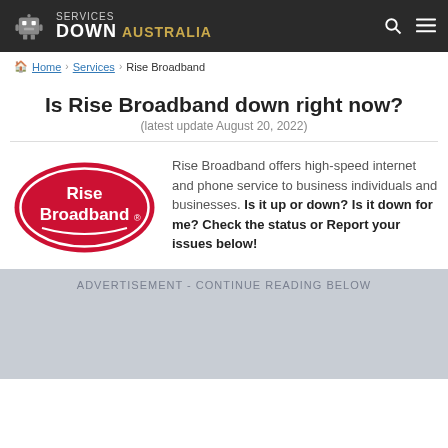Services Down Australia
Home > Services > Rise Broadband
Is Rise Broadband down right now?
(latest update August 20, 2022)
[Figure (logo): Rise Broadband logo — white text on red oval background]
Rise Broadband offers high-speed internet and phone service to business individuals and businesses. Is it up or down? Is it down for me? Check the status or Report your issues below!
ADVERTISEMENT - CONTINUE READING BELOW